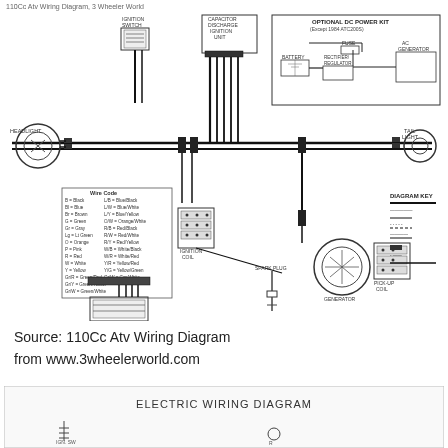110Cc Atv Wiring Diagram, 3 Wheeler World
[Figure (schematic): 110Cc ATV electrical wiring diagram showing headlight, tail light, ignition coil, spark plug, generator, pick-up coil, capacitor discharge ignition unit, optional DC power kit with battery, rectifier/regulator, fuse, and AC generator. Includes wire color code legend and diagram key.]
Source: 110Cc Atv Wiring Diagram

from www.3wheelerworld.com
[Figure (schematic): Partial electric wiring diagram shown at bottom of page with title 'ELECTRIC WIRING DIAGRAM' and beginning of schematic.]